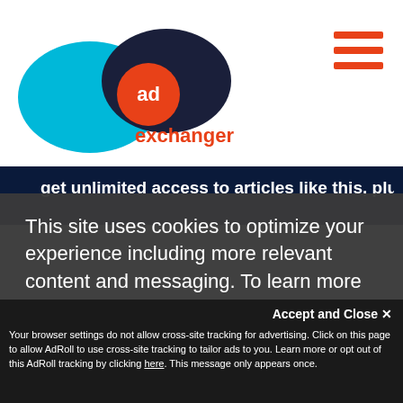[Figure (logo): AdExchanger logo with cyan and dark blue overlapping ellipses and orange 'ad' circle, with orange 'exchanger' text]
[Figure (other): Hamburger menu icon with three red horizontal bars]
get unlimited access to articles like this, plus
This site uses cookies to optimize your experience including more relevant content and messaging. To learn more about disabling cookies in your browser, click here.  By continuing to use this site, you accept our use of cookies. For more information, view our updated
Privacy Policy.
[Figure (other): Green consent button]
Accept and Close ✕
Your browser settings do not allow cross-site tracking for advertising. Click on this page to allow AdRoll to use cross-site tracking to tailor ads to you. Learn more or opt out of this AdRoll tracking by clicking here. This message only appears once.
POPULAR TODAY